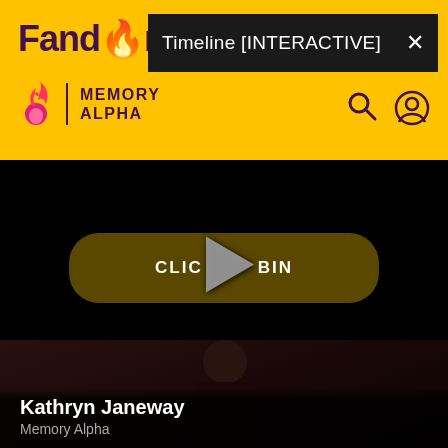[Figure (screenshot): Fandom Memory Alpha website header on yellow background with Fandom logo, Memory Alpha branding, search and user icons, and a popup bar showing 'Timeline [INTERACTIVE]' with close button]
[Figure (screenshot): Video player area with black background, a 'CLICK TO BEGIN' button with play triangle overlay, and NaN:NaN timer label in bottom right]
[Figure (photo): Dark screenshot from Star Trek showing Kathryn Janeway character in dark uniform]
Kathryn Janeway
Memory Alpha